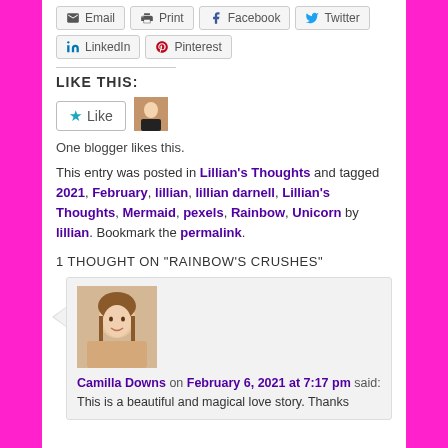Email | Print | Facebook | Twitter | LinkedIn | Pinterest
LIKE THIS:
One blogger likes this.
This entry was posted in Lillian's Thoughts and tagged 2021, February, lillian, lillian darnell, Lillian's Thoughts, Mermaid, pexels, Rainbow, Unicorn by lillian. Bookmark the permalink.
1 THOUGHT ON "RAINBOW'S CRUSHES"
Camilla Downs on February 6, 2021 at 7:17 pm said:
This is a beautiful and magical love story. Thanks